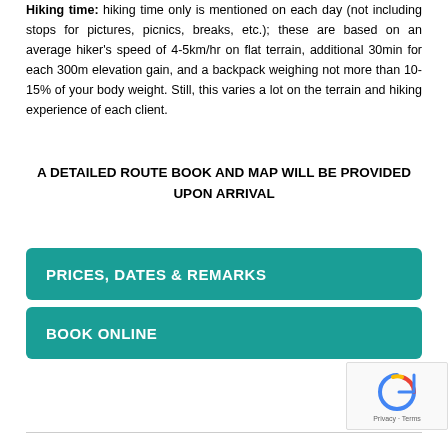Hiking time: hiking time only is mentioned on each day (not including stops for pictures, picnics, breaks, etc.); these are based on an average hiker's speed of 4-5km/hr on flat terrain, additional 30min for each 300m elevation gain, and a backpack weighing not more than 10-15% of your body weight. Still, this varies a lot on the terrain and hiking experience of each client.
A DETAILED ROUTE BOOK AND MAP WILL BE PROVIDED UPON ARRIVAL
PRICES, DATES & REMARKS
BOOK ONLINE